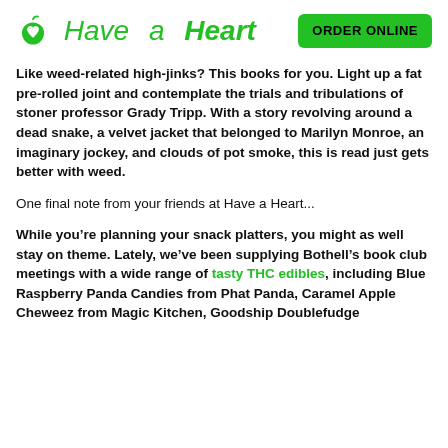Have a Heart | ORDER ONLINE
Like weed-related high-jinks? This books for you. Light up a fat pre-rolled joint and contemplate the trials and tribulations of stoner professor Grady Tripp. With a story revolving around a dead snake, a velvet jacket that belonged to Marilyn Monroe, an imaginary jockey, and clouds of pot smoke, this is read just gets better with weed.
One final note from your friends at Have a Heart...
While you’re planning your snack platters, you might as well stay on theme. Lately, we’ve been supplying Bothell’s book club meetings with a wide range of tasty THC edibles, including Blue Raspberry Panda Candies from Phat Panda, Caramel Apple Cheweez from Magic Kitchen, Goodship Doublefudge